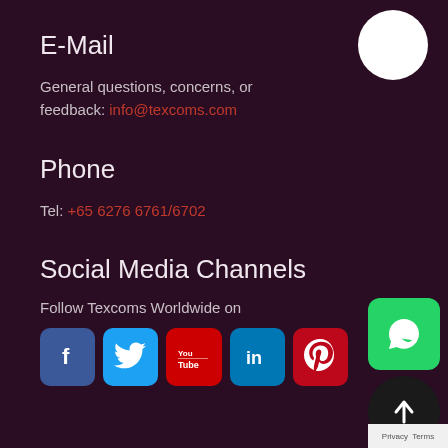E-Mail
General questions, concerns, or feedback: info@texcoms.com
Phone
Tel: +65 6276 6761/6702
Social Media Channels
Follow Texcoms Worldwide on
[Figure (infographic): Social media icons row: Facebook (blue), Twitter (blue), YouTube (red), LinkedIn (blue), Pinterest (red)]
[Figure (logo): WhatsApp green button floating on the right side]
[Figure (other): White circle in the top right corner]
[Figure (other): Scroll to top dark circular button bottom right]
Privacy Terms